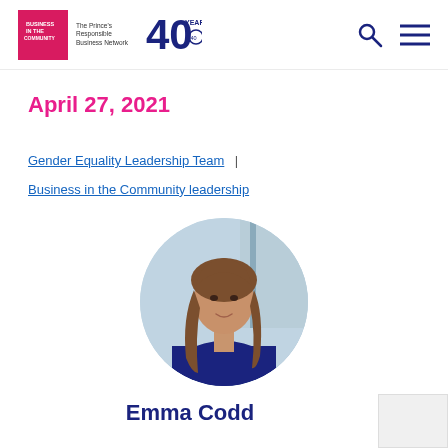[Figure (logo): Business in the Community / The Prince's Responsible Business Network logo with pink square and 40 Years anniversary mark, plus search and hamburger menu icons]
April 27, 2021
Gender Equality Leadership Team | Business in the Community leadership
[Figure (photo): Circular portrait photograph of Emma Codd, a woman with long brown hair wearing a dark navy top]
Emma Codd